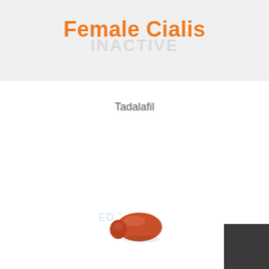Female Cialis
Tadalafil
[Figure (illustration): A reddish-brown oval pharmaceutical pill/tablet with a watermark logo overlay reading 'ED rx Bitcoin']
[Figure (other): Dark charcoal/black square block in bottom right corner]